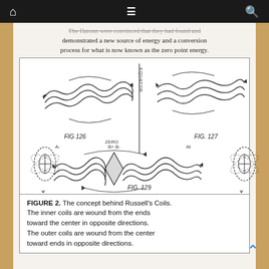Navigation bar with home, menu, and search icons
The Hatonn were convinced that they had found and demonstrated a new source of energy and a conversion process for what is now known as the zero point energy.
[Figure (illustration): Technical diagrams labeled FIG 126, FIG 127, and FIG 129 showing Russell's Coils — spiral coil configurations with arrows indicating winding directions, equator line, zero and pole labels, and orbital sphere diagrams at the ends.]
FIGURE 2. The concept behind Russell's Coils. The inner coils are wound from the ends toward the center in opposite directions. The outer coils are wound from the center toward ends in opposite directions.